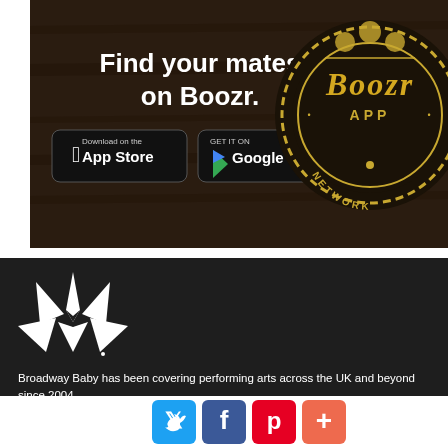[Figure (illustration): Boozr App advertisement banner on dark wood background. Shows 'Find your mates on Boozr.' text with App Store and Google Play download buttons, and a circular Boozr App Network badge logo on the right.]
[Figure (logo): Broadway Baby star logo — white star with pen nib shape in center, on dark background]
Broadway Baby has been covering performing arts across the UK and beyond since 2004.
Please note ticket prices displayed on our homepage are based on best prices seen in an overnight scan. For up-to-the-minute pricing, please visit our Ticketing Site
[Figure (infographic): Social sharing buttons row: Twitter (blue bird icon), Facebook (blue f icon), Pinterest (red P icon), More/Add (orange + icon)]